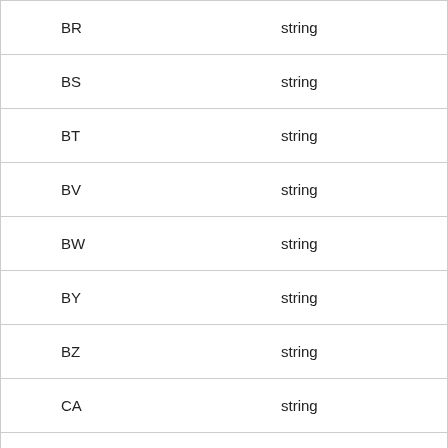| BR | string |
| BS | string |
| BT | string |
| BV | string |
| BW | string |
| BY | string |
| BZ | string |
| CA | string |
|  |  |